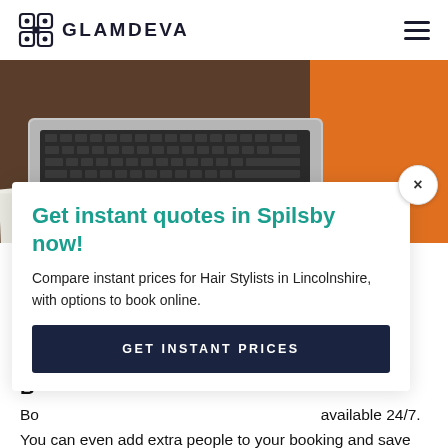GLAMDEVA
[Figure (photo): Laptop with black keyboard on a desk with orange and wooden surface, viewed from above]
Get instant quotes in Spilsby now!
Compare instant prices for Hair Stylists in Lincolnshire, with options to book online.
GET INSTANT PRICES
B
Bo... available 24/7. You can even add extra people to your booking and save money.